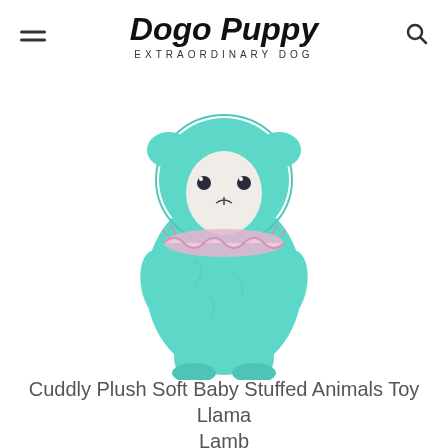Dogo Puppy EXTRAORDINARY DOG
[Figure (photo): A teal/mint colored fluffy plush stuffed animal llama/alpaca toy with a white face, dark button eyes, and a pink lace ruffle collar around its neck. The toy is standing upright on four legs.]
Cuddly Plush Soft Baby Stuffed Animals Toy Llama Lamb